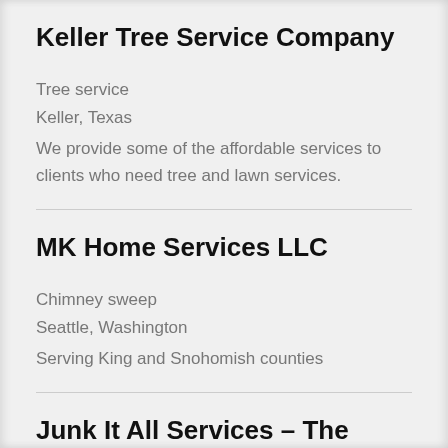Keller Tree Service Company
Tree service
Keller, Texas
We provide some of the affordable services to clients who need tree and lawn services.
MK Home Services LLC
Chimney sweep
Seattle, Washington
Serving King and Snohomish counties
Junk It All Services – The Villages